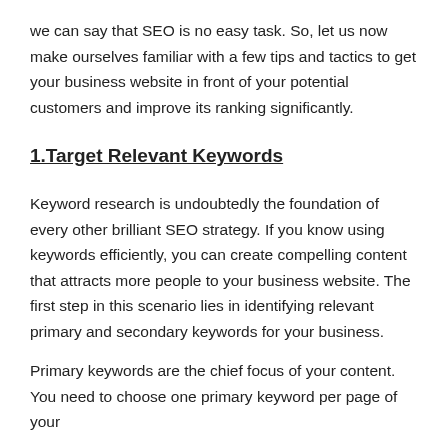we can say that SEO is no easy task. So, let us now make ourselves familiar with a few tips and tactics to get your business website in front of your potential customers and improve its ranking significantly.
1.Target Relevant Keywords
Keyword research is undoubtedly the foundation of every other brilliant SEO strategy. If you know using keywords efficiently, you can create compelling content that attracts more people to your business website. The first step in this scenario lies in identifying relevant primary and secondary keywords for your business.
Primary keywords are the chief focus of your content. You need to choose one primary keyword per page of your